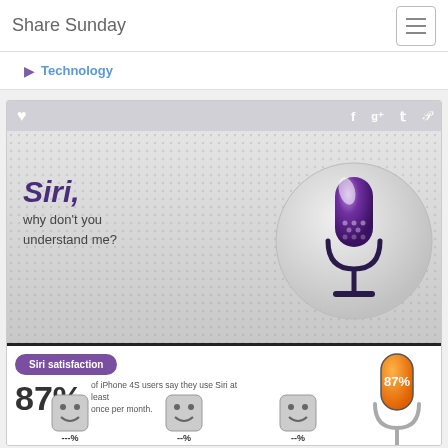Share Sunday
Technology
[Figure (infographic): Infographic titled 'Siri, why don't you understand me?' showing a purple microphone icon on a circular gray background. Below is a 'Siri satisfaction' section with an orange-filled microphone showing 87%, and a statistic: '87% of iPhone 4S users say they use Siri at least once per month.' Small face icons are visible at the bottom.]